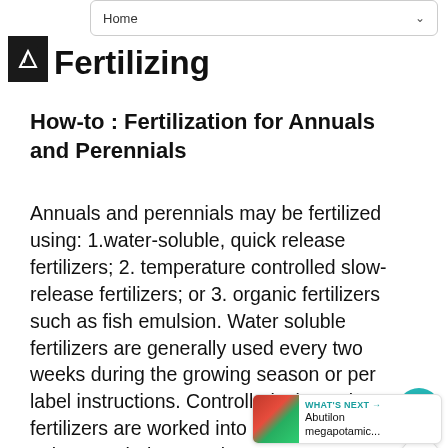Home
Fertilizing
How-to : Fertilization for Annuals and Perennials
Annuals and perennials may be fertilized using: 1.water-soluble, quick release fertilizers; 2. temperature controlled slow-release fertilizers; or 3. organic fertilizers such as fish emulsion. Water soluble fertilizers are generally used every two weeks during the growing season or per label instructions. Controlled, slow-release fertilizers are worked into the soil ususally only once during growing season or per label directions. For organic fertilizers such as fish emulsion, follow...